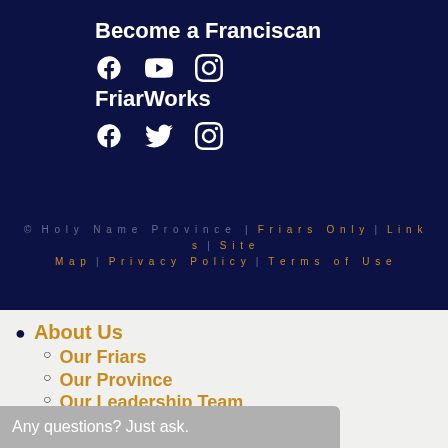Become a Franciscan
[Figure (other): Social media icons row: Facebook, YouTube, Instagram (white icons on dark navy background)]
FriarWorks
[Figure (other): Social media icons row: Facebook, Twitter, Instagram (white icons on dark navy background)]
© Holy Name Province | Friars Only | Links | Site Map | Privacy Policy | Terms of Use
About Us
Our Friars
Our Province
Our Leadership Team
Our Franciscan Tradition
Our Work
Our Parishes
Urban Ministry Centers
Any questions? Just ask.